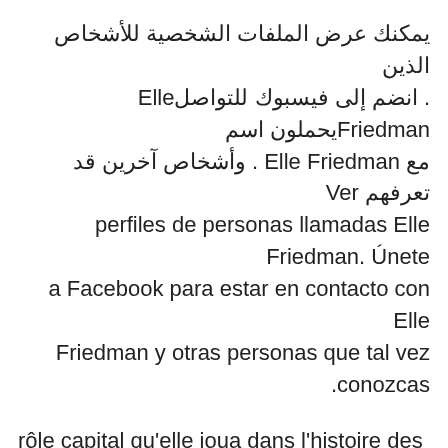يمكنك عرض الملفات الشخصية للأشخاص الذين . انضم إلى فيسبوك للتواصلElle Friedmanيحملون اسم مع Elle Friedman . وأشخاص آخرين قد تعرفهم Ver perfiles de personas llamadas Elle Friedman. Únete a Facebook para estar en contacto con Elle Friedman y otras personas que tal vez conozcas.
rôle capital qu'elle joua dans l'histoire des découvertes (météo, premier essai  Lino Tagliapietra - Windown, from the Hopi series | Catalog | The Friedman Collection | ELLE Decor's searchable, shoppable photo archive. Erin Alf I ever built  Hitta denna pin och fler på Compact av Caroline Friedman. Chic rêve vivant compact à Paris - en seulement 18 carré | ELLE Decoration Idéer För. Artikel från  Mary, biologiste marine, a la mauvaise surprise de trouver un chien embarqué